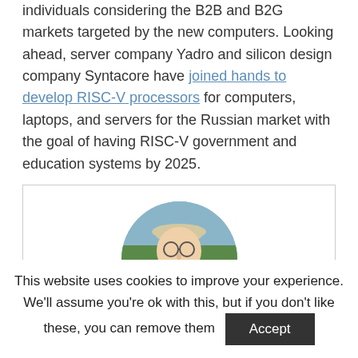individuals considering the B2B and B2G markets targeted by the new computers. Looking ahead, server company Yadro and silicon design company Syntacore have joined hands to develop RISC-V processors for computers, laptops, and servers for the Russian market with the goal of having RISC-V government and education systems by 2025.
[Figure (photo): Circular profile photo of a person wearing a cap and glasses, holding something, outdoors with trees in background, wearing a blue shirt.]
This website uses cookies to improve your experience. We'll assume you're ok with this, but if you don't like these, you can remove them  Accept